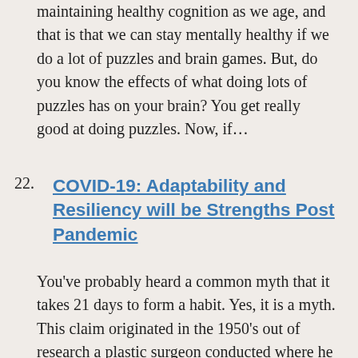maintaining healthy cognition as we age, and that is that we can stay mentally healthy if we do a lot of puzzles and brain games. But, do you know the effects of what doing lots of puzzles has on your brain? You get really good at doing puzzles. Now, if…
22. COVID-19: Adaptability and Resiliency will be Strengths Post Pandemic
You've probably heard a common myth that it takes 21 days to form a habit. Yes, it is a myth. This claim originated in the 1950's out of research a plastic surgeon conducted where he found it took people about 21 days to